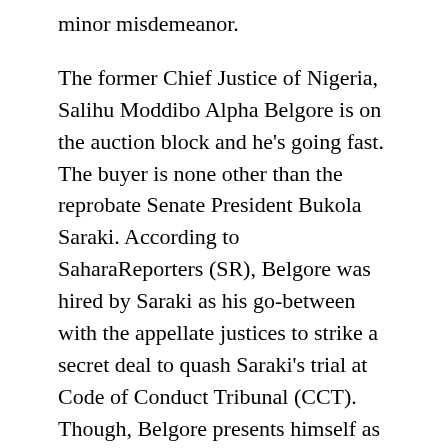minor misdemeanor.
The former Chief Justice of Nigeria, Salihu Moddibo Alpha Belgore is on the auction block and he's going fast. The buyer is none other than the reprobate Senate President Bukola Saraki. According to SaharaReporters (SR), Belgore was hired by Saraki as his go-between with the appellate justices to strike a secret deal to quash Saraki's trial at Code of Conduct Tribunal (CCT). Though, Belgore presents himself as a well regarded justice, he never won the inward battles. On the outside, however, he amounts to little more than a shrimp. Greed is his most noticeable quality.
Like any other corruption case in Nigeria, SR has been exceptionally successful in preempting unfair rulings that might have acquitted the enemies of Nigeria.  As a contributor to SR, it sounds immodest of me to heap